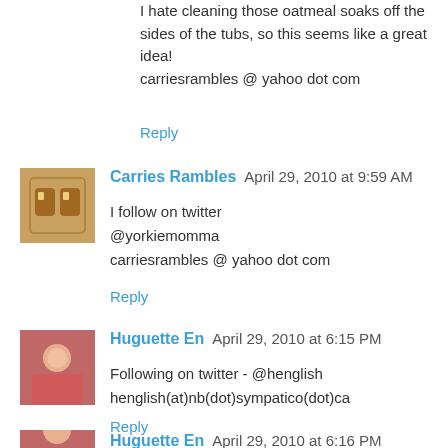I hate cleaning those oatmeal soaks off the sides of the tubs, so this seems like a great idea!
carriesrambles @ yahoo dot com
Reply
Carries Rambles  April 29, 2010 at 9:59 AM
I follow on twitter
@yorkiemomma
carriesrambles @ yahoo dot com
Reply
Huguette En  April 29, 2010 at 6:15 PM
Following on twitter - @henglish
henglish(at)nb(dot)sympatico(dot)ca
Reply
Huguette En  April 29, 2010 at 6:16 PM